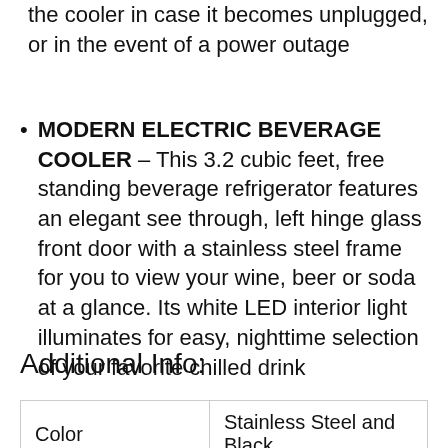the cooler in case it becomes unplugged, or in the event of a power outage
MODERN ELECTRIC BEVERAGE COOLER – This 3.2 cubic feet, free standing beverage refrigerator features an elegant see through, left hinge glass front door with a stainless steel frame for you to view your wine, beer or soda at a glance. Its white LED interior light illuminates for easy, nighttime selection of your favorite chilled drink
Additional Info:
| Color |  |
| --- | --- |
| Color | Stainless Steel and Black |